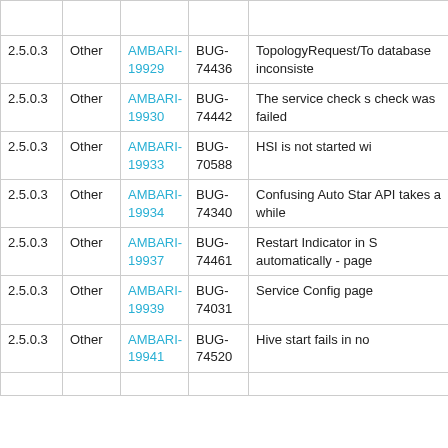| Version | Type | AMBARI | BUG | Description |
| --- | --- | --- | --- | --- |
| 2.5.0.3 | Other | AMBARI-19929 | BUG-74436 | TopologyRequest/To database inconsiste |
| 2.5.0.3 | Other | AMBARI-19930 | BUG-74442 | The service check s check was failed |
| 2.5.0.3 | Other | AMBARI-19933 | BUG-70588 | HSI is not started wi |
| 2.5.0.3 | Other | AMBARI-19934 | BUG-74340 | Confusing Auto Star API takes a while |
| 2.5.0.3 | Other | AMBARI-19937 | BUG-74461 | Restart Indicator in S automatically - page |
| 2.5.0.3 | Other | AMBARI-19939 | BUG-74031 | Service Config page |
| 2.5.0.3 | Other | AMBARI-19941 | BUG-74520 | Hive start fails in no |